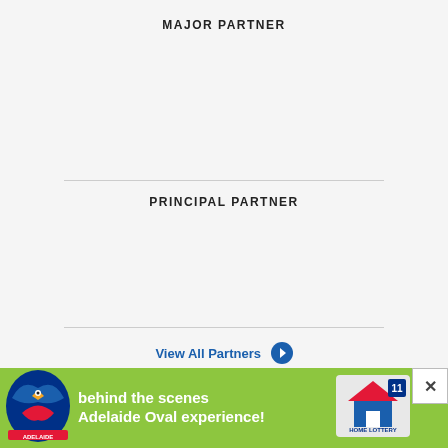MAJOR PARTNER
[Figure (other): Major partner logo area (empty/placeholder)]
PRINCIPAL PARTNER
[Figure (other): Principal partner logo area (empty/placeholder)]
View All Partners →
[Figure (other): Partial circular logo visible at bottom of main content]
[Figure (other): Advertisement banner: Adelaide Crows eagle logo, text 'behind the scenes Adelaide Oval experience!', Home Lottery logo, close button X]